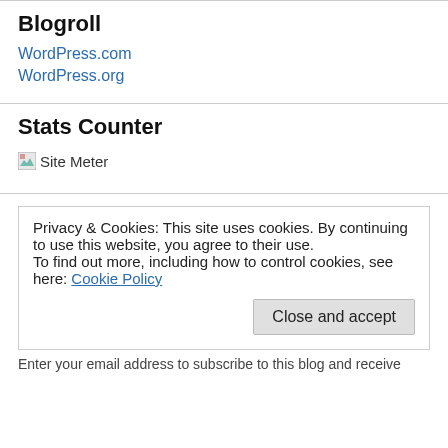Blogroll
WordPress.com
WordPress.org
Stats Counter
[Figure (other): Site Meter broken image placeholder with alt text 'Site Meter']
Privacy & Cookies: This site uses cookies. By continuing to use this website, you agree to their use.
To find out more, including how to control cookies, see here: Cookie Policy
Close and accept
Enter your email address to subscribe to this blog and receive